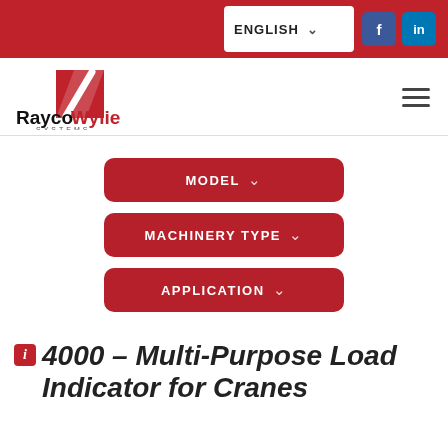ENGLISH
[Figure (logo): RaycoWylie Systems logo with red diamond shape and white diagonal slash, company name in bold black text]
MODEL
MACHINERY TYPE
APPLICATION
i 4000 – Multi-Purpose Load Indicator for Cranes